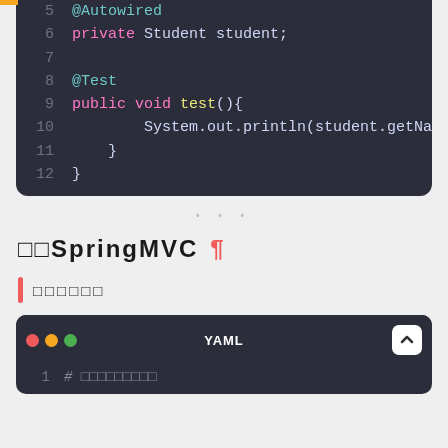[Figure (screenshot): Code editor dark theme showing Java code lines 5-12: @Autowired annotation, private Student student field, @Test annotation, public void test() method with System.out.println(student.getName() call, closing braces]
□□SpringMVC ¶
□□□□□□
[Figure (screenshot): YAML code editor dark theme showing line 1 with a comment in CJK characters]